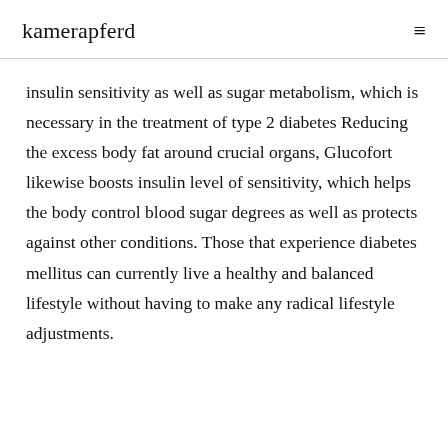kamerapferd
insulin sensitivity as well as sugar metabolism, which is necessary in the treatment of type 2 diabetes Reducing the excess body fat around crucial organs, Glucofort likewise boosts insulin level of sensitivity, which helps the body control blood sugar degrees as well as protects against other conditions. Those that experience diabetes mellitus can currently live a healthy and balanced lifestyle without having to make any radical lifestyle adjustments.